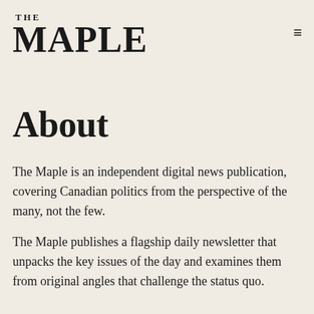THE MAPLE
About
The Maple is an independent digital news publication, covering Canadian politics from the perspective of the many, not the few.
The Maple publishes a flagship daily newsletter that unpacks the key issues of the day and examines them from original angles that challenge the status quo.